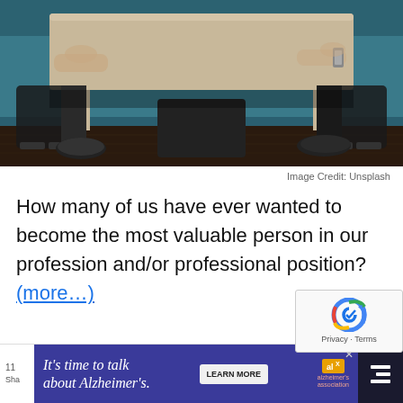[Figure (photo): Photo of people sitting at a table in a dark room, showing chairs, table, and feet/legs of two people. Dark teal/blue background.]
Image Credit: Unsplash
How many of us have ever wanted to become the most valuable person in our profession and/or professional position? (more…)